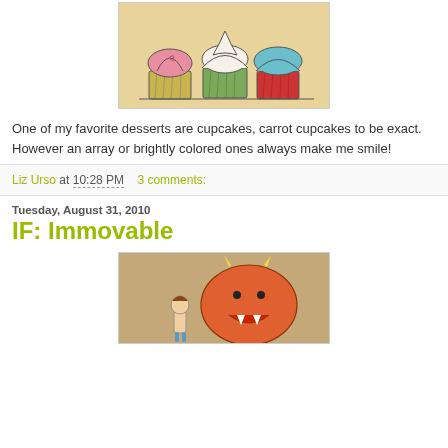[Figure (illustration): Drawing of three cupcakes side by side with colorful frosting (pink, white, blue) on an orange/tan background. Cupcake liners are yellow-green, white, and red striped.]
One of my favorite desserts are cupcakes, carrot cupcakes to be exact. However an array or brightly colored ones always make me smile!
Liz Urso at 10:28 PM   3 comments:
Tuesday, August 31, 2010
IF: Immovable
[Figure (illustration): Drawing of a small child standing next to a large round orange monster with horns and a big mouth, on a tan/brown background.]